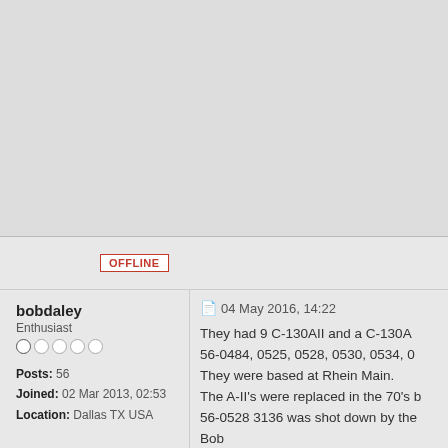[Figure (other): Gray placeholder area at the top of the page, representing an image or advertisement space]
OFFLINE
bobdaley
Enthusiast
Posts: 56
Joined: 02 Mar 2013, 02:53
Location: Dallas TX USA
04 May 2016, 14:22
They had 9 C-130AII and a C-130A 56-0484, 0525, 0528, 0530, 0534, 0... They were based at Rhein Main. The A-II's were replaced in the 70's b... 56-0528 3136 was shot down by the... Bob